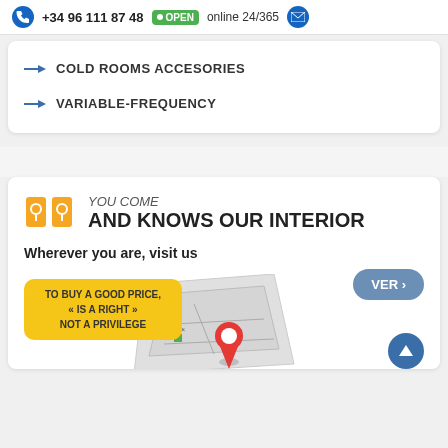+34 96 111 87 48  online 24/365
COLD ROOMS ACCESORIES
VARIABLE-FREQUENCY
YOU COME
AND KNOWS OUR INTERIOR
Wherever you are, visit us
TO BUY A GOOD PRICE, « IS A RIGHT » NOT A PRIVILEGE
VER >